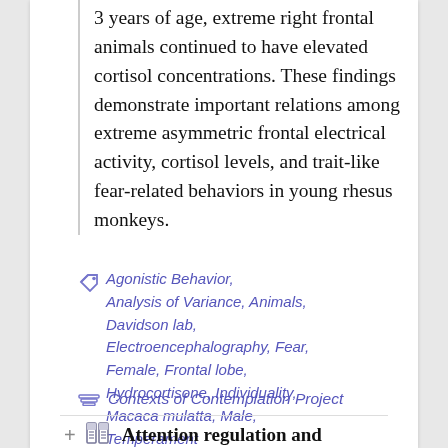3 years of age, extreme right frontal animals continued to have elevated cortisol concentrations. These findings demonstrate important relations among extreme asymmetric frontal electrical activity, cortisol levels, and trait-like fear-related behaviors in young rhesus monkeys.
Agonistic Behavior, Analysis of Variance, Animals, Davidson lab, Electroencephalography, Fear, Female, Frontal lobe, Hydrocortisone, Individuality, Macaca mulatta, Male, Temperament
Contexts of Contemplation Project
Attention regulation and